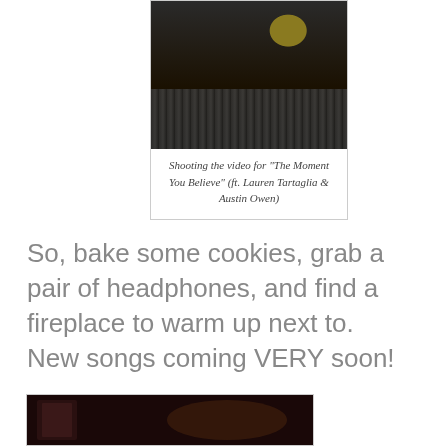[Figure (photo): Studio recording setup with mixing board/faders and a yellow-cone studio monitor speaker visible on top of equipment, dark background]
Shooting the video for “The Moment You Believe” (ft. Lauren Tartaglia & Austin Owen)
So, bake some cookies, grab a pair of headphones, and find a fireplace to warm up next to. New songs coming VERY soon!
[Figure (photo): Partial view of a dark-toned indoor photo, possibly a room with warm lighting]